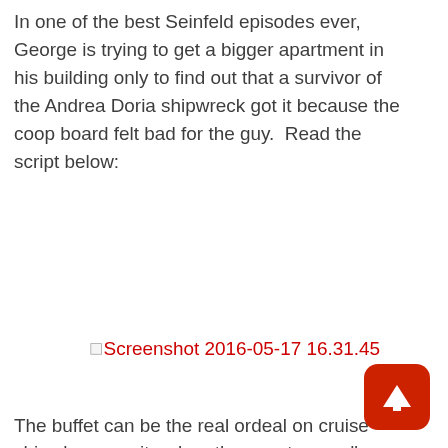In one of the best Seinfeld episodes ever, George is trying to get a bigger apartment in his building only to find out that a survivor of the Andrea Doria shipwreck got it because the coop board felt bad for the guy.  Read the script below:
[Figure (screenshot): Broken image placeholder with red link text reading 'Screenshot 2016-05-17 16.31.45']
The buffet can be the real ordeal on cruise ships because its when the guests are all touching utensils, and if anyone of them lick